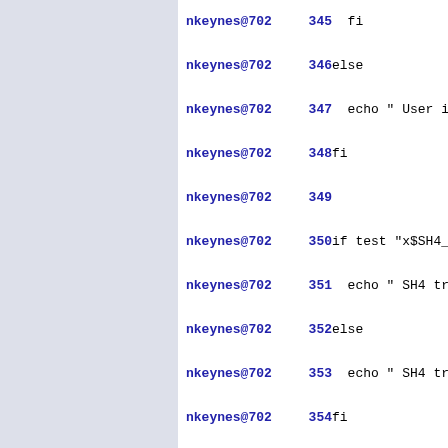nkeynes@702  345  fi
nkeynes@702  346 else
nkeynes@702  347   echo "  User int
nkeynes@702  348 fi
nkeynes@702  349
nkeynes@702  350 if test "x$SH4_TRA
nkeynes@702  351   echo "  SH4 tran
nkeynes@702  352 else
nkeynes@702  353   echo "  SH4 tran
nkeynes@702  354 fi